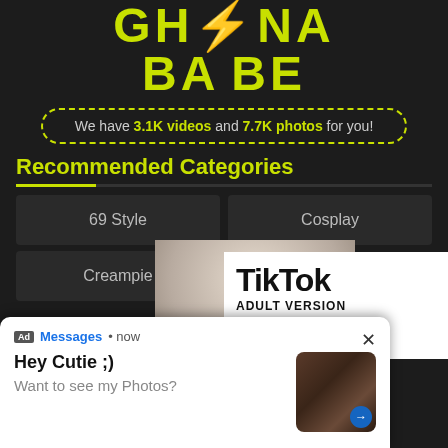[Figure (screenshot): Website logo for 'Ghana Babe' in large yellow-green bold text on dark background]
We have 3.1K videos and 7.7K photos for you!
Recommended Categories
69 Style
Cosplay
Creampie
[Figure (photo): Partial photo visible behind advertisement overlays]
[Figure (screenshot): TikTok Adult Version advertisement overlay]
[Figure (screenshot): Ad notification overlay: Messages • now — Hey Cutie ;) Want to see my Photos?]